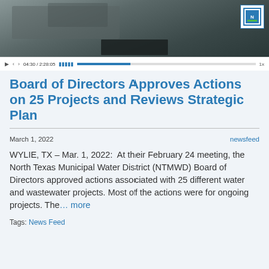[Figure (screenshot): Video player screenshot showing a water district meeting recording. Controls bar shows timestamp 04:30 / 2:28:05 and 1x speed. NTMWD logo visible in top right corner.]
Board of Directors Approves Actions on 25 Projects and Reviews Strategic Plan
March 1, 2022
newsfeed
WYLIE, TX – Mar. 1, 2022:  At their February 24 meeting, the North Texas Municipal Water District (NTMWD) Board of Directors approved actions associated with 25 different water and wastewater projects. Most of the actions were for ongoing projects. The… more
Tags: News Feed